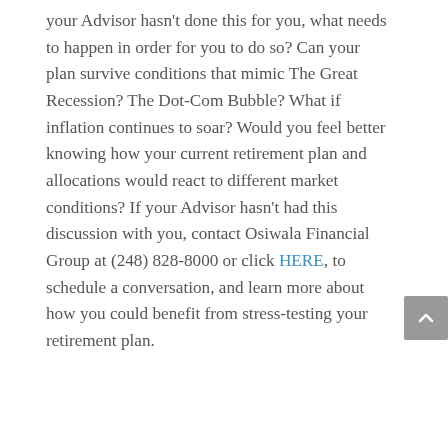your Advisor hasn't done this for you, what needs to happen in order for you to do so? Can your plan survive conditions that mimic The Great Recession? The Dot-Com Bubble? What if inflation continues to soar? Would you feel better knowing how your current retirement plan and allocations would react to different market conditions? If your Advisor hasn't had this discussion with you, contact Osiwala Financial Group at (248) 828-8000 or click HERE, to schedule a conversation, and learn more about how you could benefit from stress-testing your retirement plan.